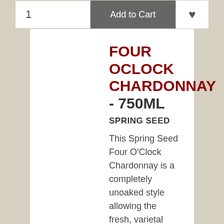[Figure (screenshot): Quantity input field showing '1' and Add to Cart button with heart/wishlist button from previous product listing]
FOUR OCLOCK CHARDONNAY - 750ml
SPRING SEED
This Spring Seed Four O'Clock Chardonnay is a completely unoaked style allowing the fresh, varietal flavours of citrus, stonefruit and pineapple to really shine.
Certified Organic  Australian
$19.95
[Figure (screenshot): Quantity input field showing '1' and Add to Cart button with heart/wishlist button]
Top